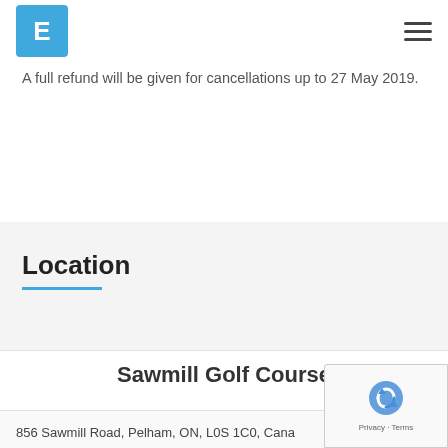E [logo] [hamburger menu]
A full refund will be given for cancellations up to 27 May 2019.
Location
Sawmill Golf Course
856 Sawmill Road, Pelham, ON, L0S 1C0, Canada